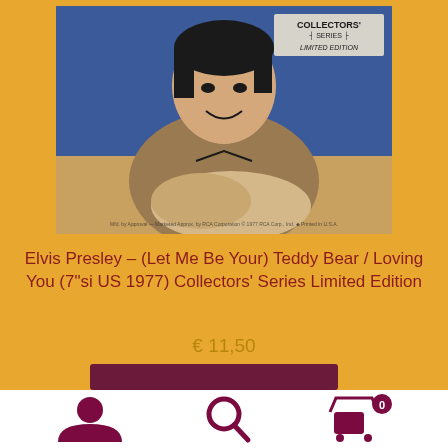[Figure (photo): Album cover photo of Elvis Presley holding a guitar, smiling, against a blue background. Top right corner shows 'COLLECTORS' SERIES LIMITED EDITION' text badge.]
Elvis Presley – (Let Me Be Your) Teddy Bear / Loving You (7"si US 1977) Collectors' Series Limited Edition
€ 11,50
[Figure (infographic): Bottom navigation bar with user account icon, search icon, and shopping cart icon with badge showing 0]